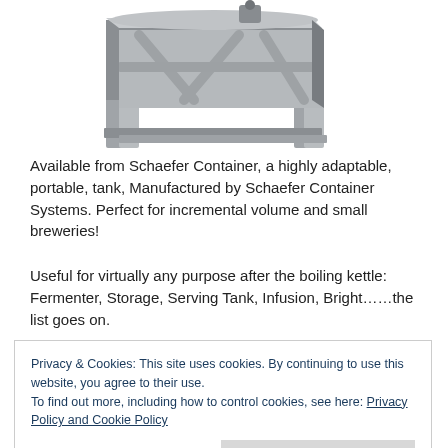[Figure (photo): A metallic industrial tank/vessel with four legs and a cylindrical body, shown from a side-angle view. The tank appears to be made of stainless steel with visible fittings at the top.]
Available from Schaefer Container, a highly adaptable, portable, tank, Manufactured by Schaefer Container Systems. Perfect for incremental volume and small breweries!
Useful for virtually any purpose after the boiling kettle: Fermenter, Storage, Serving Tank, Infusion, Bright……the list goes on.
Privacy & Cookies: This site uses cookies. By continuing to use this website, you agree to their use.
To find out more, including how to control cookies, see here: Privacy Policy and Cookie Policy
Close and accept